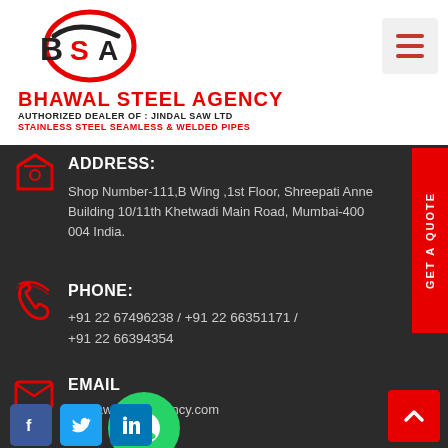[Figure (logo): BSA logo - Bhawal Steel Agency with red and black swoosh design]
BHAWAL STEEL AGENCY
AUTHORIZED DEALER OF : JINDAL SAW LTD
STAINLESS STEEL SEAMLESS & WELDED PIPES
ADDRESS:
Shop Number-111,B Wing ,1st Floor, Shreepati Anne Building 10/11th Khetwadi Main Road, Mumbai-400 004 India.
PHONE:
+91 22 67496238 / +91 22 66351171 / +91 22 66394354
EMAIL
@bhawalsteelagency.com